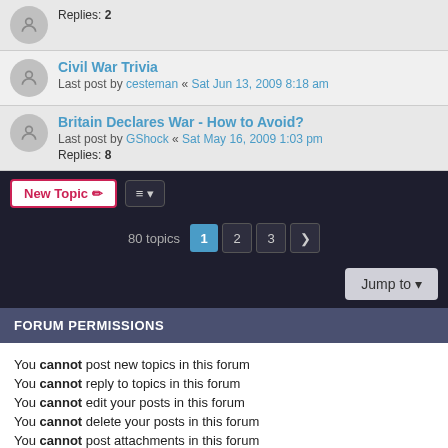Replies: 2
Civil War Trivia
Last post by cesteman « Sat Jun 13, 2009 8:18 am
Britain Declares War - How to Avoid?
Last post by GShock « Sat May 16, 2009 1:03 pm
Replies: 8
80 topics  1  2  3  >
Jump to
FORUM PERMISSIONS
You cannot post new topics in this forum
You cannot reply to topics in this forum
You cannot edit your posts in this forum
You cannot delete your posts in this forum
You cannot post attachments in this forum
Board index  Contact us  Delete cookies  All times are UTC
Powered by phpBB® Forum Software © phpBB Limited
Privacy | Terms